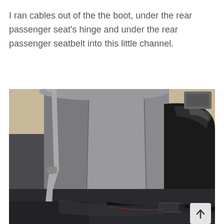I ran cables out of the the boot, under the rear passenger seat's hinge and under the rear passenger seatbelt into this little channel.
[Figure (photo): Interior photo of a car's rear passenger area showing a seat folded or tilted forward, exposing a cable routing channel. A seatbelt is visible on the left side with its buckle near the bottom. Black cables are visible running along the bottom of the seat hinge area. A small white scroll-up button with an upward arrow is in the bottom-right corner of the image.]